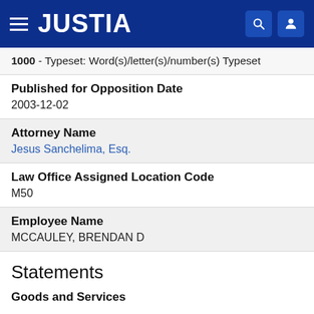JUSTIA
1000 - Typeset: Word(s)/letter(s)/number(s) Typeset
Published for Opposition Date
2003-12-02
Attorney Name
Jesus Sanchelima, Esq.
Law Office Assigned Location Code
M50
Employee Name
MCCAULEY, BRENDAN D
Statements
Goods and Services